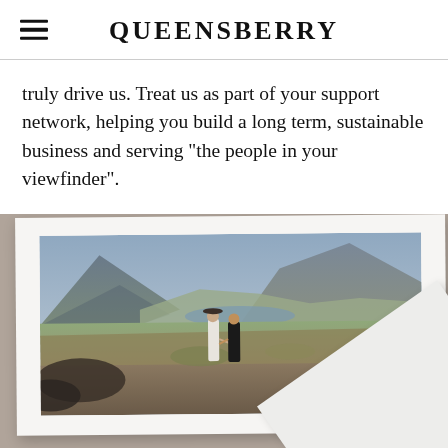QUEENSBERRY
truly drive us. Treat us as part of your support network, helping you build a long term, sustainable business and serving "the people in your viewfinder".
[Figure (photo): A printed photograph in a white album frame resting on a concrete surface, with another white album card visible below-right at an angle. The photo shows a couple holding hands in a dramatic mountain landscape with a valley and lake in the background. The woman wears a white dress and wide-brim hat; the man wears a dark suit.]